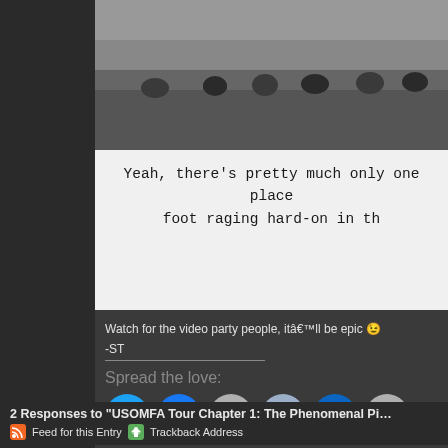[Figure (photo): Photo of a group of people sitting outdoors, partially visible at top of card]
Yeah, there's pretty much only one place foot raging hard-on in th
Watch for the video party people, itâ€™ll be epic 😉
-ST
Spread the love:
[Figure (infographic): Social sharing buttons: Twitter, Facebook, Email, Reddit, LinkedIn, Print]
2 Responses to “USOMFA Tour Chapter 1: The Phenomenal Pi…”
Feed for this Entry   Trackback Address